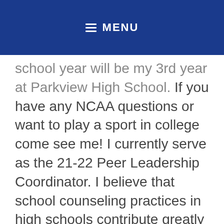☰ MENU
school year will be my 3rd year at Parkview High School. If you have any NCAA questions or want to play a sport in college come see me! I currently serve as the 21-22 Peer Leadership Coordinator. I believe that school counseling practices in high schools contribute greatly to the atmosphere, culture and educational outcomes of a school. I will use my role as a counselor to positively impact the administration, faculty and students here at Parkview.
Fun Facts: I really enjoy listening to live